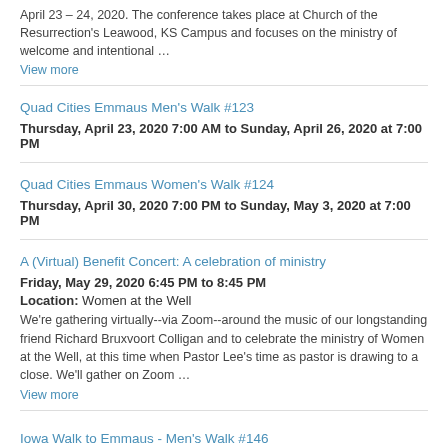April 23 – 24, 2020. The conference takes place at Church of the Resurrection's Leawood, KS Campus and focuses on the ministry of welcome and intentional …
View more
Quad Cities Emmaus Men's Walk #123
Thursday, April 23, 2020 7:00 AM to Sunday, April 26, 2020 at 7:00 PM
Quad Cities Emmaus Women's Walk #124
Thursday, April 30, 2020 7:00 PM to Sunday, May 3, 2020 at 7:00 PM
A (Virtual) Benefit Concert: A celebration of ministry
Friday, May 29, 2020 6:45 PM to 8:45 PM
Location: Women at the Well
We're gathering virtually--via Zoom--around the music of our longstanding friend Richard Bruxvoort Colligan and to celebrate the ministry of Women at the Well, at this time when Pastor Lee's time as pastor is drawing to a close. We'll gather on Zoom …
View more
Iowa Walk to Emmaus - Men's Walk #146